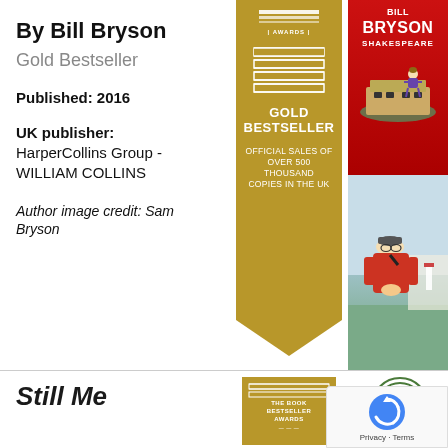By Bill Bryson
Gold Bestseller
Published: 2016
UK publisher:
HarperCollins Group - WILLIAM COLLINS
Author image credit: Sam Bryson
[Figure (infographic): Gold Bestseller award ribbon/banner with stacked books logo at top, text reading GOLD BESTSELLER, and OFFICIAL SALES OF OVER 500 THOUSAND COPIES IN THE UK, chevron bottom]
[Figure (photo): Book cover for Shakespeare by Bill Bryson - red background with illustrated Shakespeare figure sitting on the Globe Theatre]
[Figure (photo): Author photo of Bill Bryson - man in red jacket and cap smiling outdoors with coastal cliffs in background]
Still Me
[Figure (infographic): Gold Bestseller award banner partial - THE BOOK BESTSELLER AWARDS text]
[Figure (logo): Circular green badge - NIBBIES MARC? award badge]
[Figure (logo): reCAPTCHA overlay badge with Privacy - Terms text]